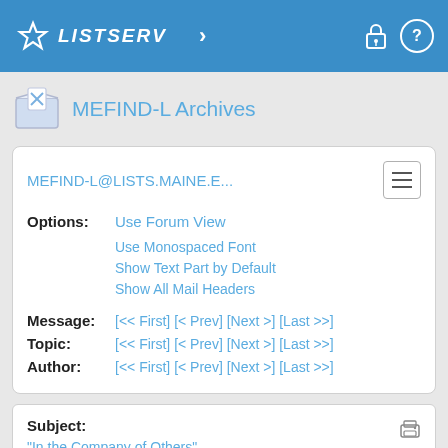LISTSERV
MEFIND-L Archives
MEFIND-L@LISTS.MAINE.E...
Options: Use Forum View
Use Monospaced Font
Show Text Part by Default
Show All Mail Headers
Message: [<< First] [< Prev] [Next >] [Last >>]
Topic: [<< First] [< Prev] [Next >] [Last >>]
Author: [<< First] [< Prev] [Next >] [Last >>]
Subject: "In the Company of Others"
From: Karen Wyatt <[log in to unmask]>